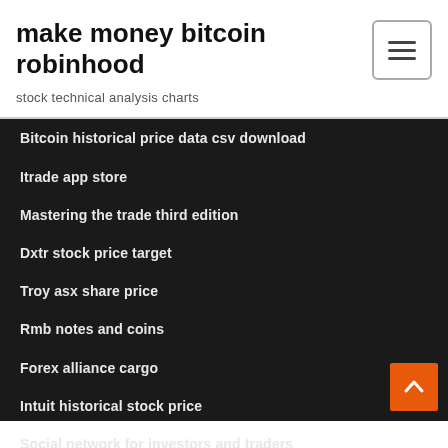make money bitcoin robinhood
stock technical analysis charts
Bitcoin historical price data csv download
Itrade app store
Mastering the trade third edition
Dxtr stock price target
Troy asx share price
Rmb notes and coins
Forex alliance cargo
Intuit historical stock price
Social network for investors and traders
S and p 500 price target